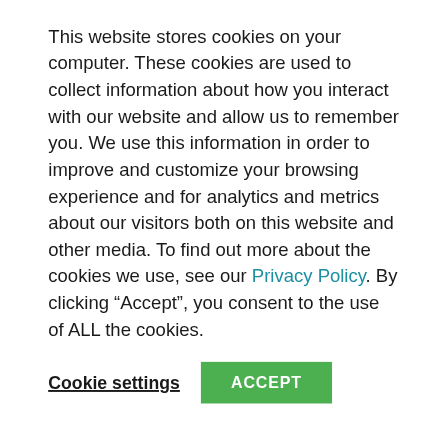This website stores cookies on your computer. These cookies are used to collect information about how you interact with our website and allow us to remember you. We use this information in order to improve and customize your browsing experience and for analytics and metrics about our visitors both on this website and other media. To find out more about the cookies we use, see our Privacy Policy. By clicking “Accept”, you consent to the use of ALL the cookies.
Cookie settings   ACCEPT
[Figure (screenshot): Blurred/grayed navigation bar with indistinct menu items]
You call it afternoon tea, but in Britain it’s just called tea. Because you don’t just have tea in the afternoon. You have tea all the time.
It’s the first thing we have when we wake up. It’s the first thing you’re offered if you walk into someone’s house—